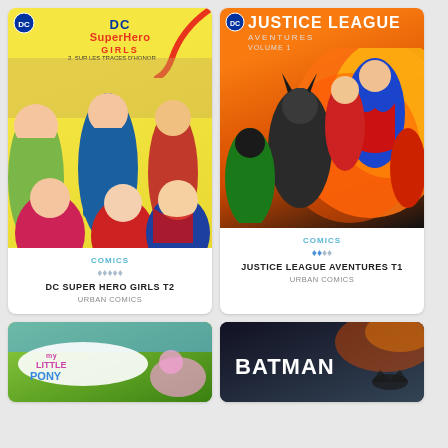[Figure (illustration): DC Super Hero Girls T2 comic book cover - cartoon style with superhero girls on yellow background]
COMICS
★★★☆☆
DC SUPER HERO GIRLS T2
URBAN COMICS
[Figure (illustration): Justice League Aventures T1 comic book cover - action scene with heroes against fiery background]
COMICS
★★☆☆☆
JUSTICE LEAGUE AVENTURES T1
URBAN COMICS
[Figure (illustration): My Little Pony comic book cover - partial view showing logo on green background]
[Figure (illustration): Batman comic book cover - partial view showing Batman title on dark background]